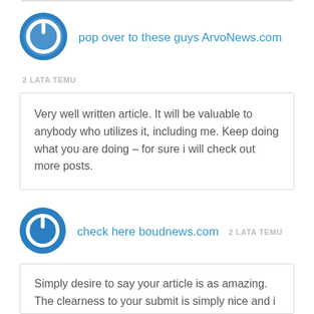[Figure (logo): Blue circular power button icon - avatar for first commenter]
pop over to these guys ArvoNews.com
2 LATA TEMU
Very well written article. It will be valuable to anybody who utilizes it, including me. Keep doing what you are doing – for sure i will check out more posts.
[Figure (logo): Blue circular power button icon - avatar for second commenter]
check here boudnews.com
2 LATA TEMU
Simply desire to say your article is as amazing. The clearness to your submit is simply nice and i could suppose you are a professional in this subject. Fine with your permission allow me to clutch your RSS feed to keep updated with approaching post. Thanks 1,000,000 and please keep up the rewarding work.